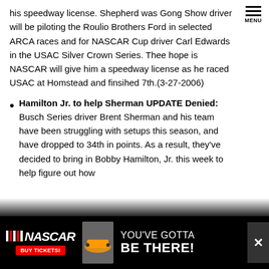MENU
his speedway license. Shepherd was Gong Show driver will be piloting the Roulio Brothers Ford in selected ARCA races and for NASCAR Cup driver Carl Edwards in the USAC Silver Crown Series. Thee hope is NASCAR will give him a speedway license as he raced USAC at Homstead and finsihed 7th.(3-27-2006)
Hamilton Jr. to help Sherman UPDATE Denied: Busch Series driver Brent Sherman and his team have been struggling with setups this season, and have dropped to 34th in points. As a result, they've decided to bring in Bobby Hamilton, Jr. this week to help figure out how
[Figure (infographic): NASCAR advertisement banner: NASCAR logo with stripes on left, 'BUY TICKETS!' red button, car image, text 'YOU'VE GOTTA BE THERE!' on right side. Black background.]